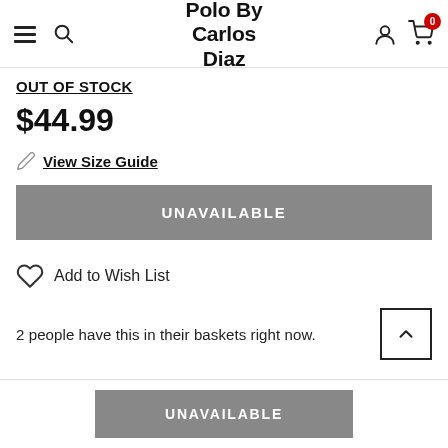Polo By Carlos Diaz
OUT OF STOCK
$44.99
View Size Guide
UNAVAILABLE
Add to Wish List
2 people have this in their baskets right now.
UNAVAILABLE